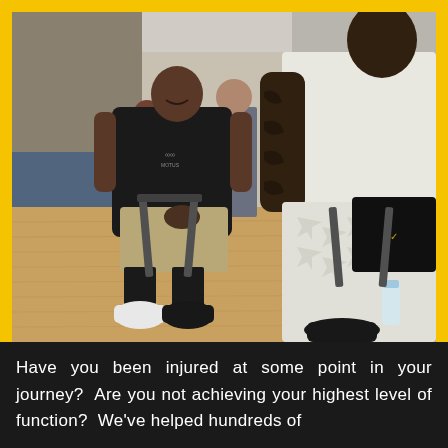[Figure (photo): Two men sitting on chairs on a basketball court, laughing and talking. The man on the left is wearing a black t-shirt with a logo, khaki shorts, black socks, and white/black Jordan sneakers. The man on the right is a tall, heavily tattooed athlete wearing a white sleeveless shirt and white patterned Jordan Brand compression pants with black sneakers. Several people are visible in the background in what appears to be an indoor basketball gym facility.]
Have you been injured at some point in your journey? Are you not achieving your highest level of function? We've helped hundreds of